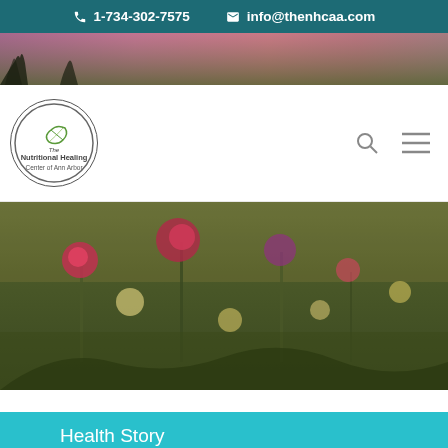1-734-302-7575   info@thenhcaa.com
[Figure (photo): Sunset sky with grass silhouettes hero banner strip]
[Figure (logo): The Nutritional Healing Center of Ann Arbor logo with circle border and leaf icon]
[Figure (photo): Wildflower field photograph with red and pink flowers in a green meadow]
Health Story
Biography
Since becoming a Nutritional Healing